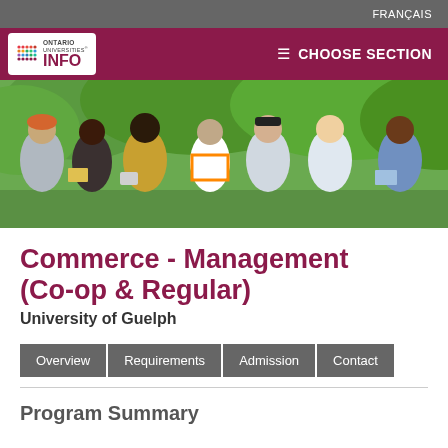FRANÇAIS
[Figure (logo): Ontario Universities INFO logo with colorful dot grid, white background box]
≡ CHOOSE SECTION
[Figure (photo): Group of diverse university students sitting outdoors on grass, reading, using tablets and phones, with green trees in background]
Commerce - Management (Co-op & Regular)
University of Guelph
Overview
Requirements
Admission
Contact
Program Summary